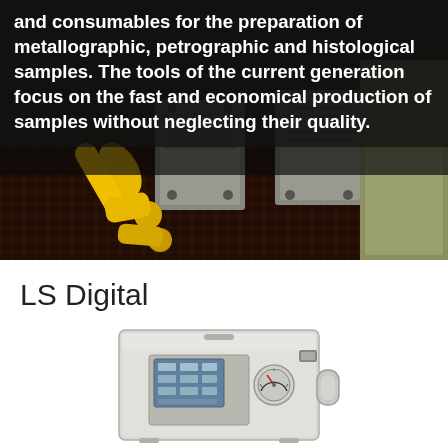[Figure (photo): Industrial metallographic equipment photo — yellow fittings and metal mechanical clamps/blocks on a dark textured mat, with overlaid white bold text describing the product category.]
and consumables for the preparation of metallographic, petrographic and histological samples. The tools of the current generation focus on the fast and economical production of samples without neglecting their quality.
LS Digital
[Figure (photo): LS Digital device — a silver/white metal box with a digital touchscreen display and a round gauge on the front panel, with a handle visible on the right side.]